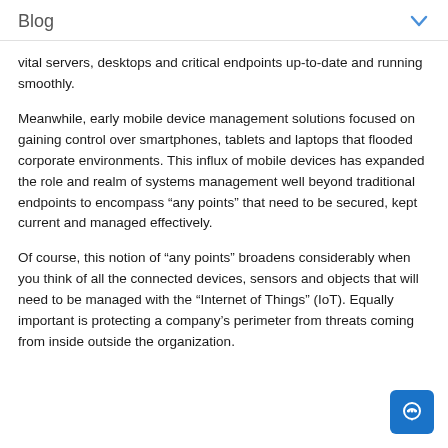Blog
vital servers, desktops and critical endpoints up-to-date and running smoothly.
Meanwhile, early mobile device management solutions focused on gaining control over smartphones, tablets and laptops that flooded corporate environments. This influx of mobile devices has expanded the role and realm of systems management well beyond traditional endpoints to encompass “any points” that need to be secured, kept current and managed effectively.
Of course, this notion of “any points” broadens considerably when you think of all the connected devices, sensors and objects that will need to be managed with the “Internet of Things” (IoT). Equally important is protecting a company’s perimeter from threats coming from inside outside the organization.